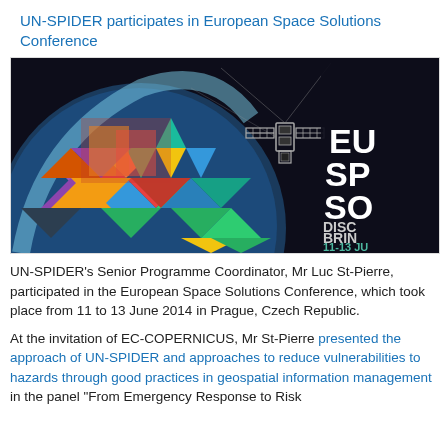UN-SPIDER participates in European Space Solutions Conference
[Figure (photo): Banner image for the European Space Solutions Conference showing a colorful geometric globe on the left and a satellite illustration on a dark background on the right, with large bold white text reading 'EU SPA SOL' and subtext 'DISCO BRIN' and date '11-13 JU']
UN-SPIDER's Senior Programme Coordinator, Mr Luc St-Pierre, participated in the European Space Solutions Conference, which took place from 11 to 13 June 2014 in Prague, Czech Republic.
At the invitation of EC-COPERNICUS, Mr St-Pierre presented the approach of UN-SPIDER and approaches to reduce vulnerabilities to hazards through good practices in geospatial information management in the panel "From Emergency Response to Risk